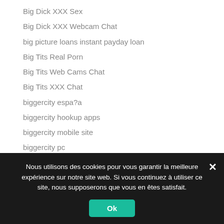Big Dick XXX Sex
Big Dick XXX Webcam Chat
big picture loans instant payday loan
Big Tits Real Porn
Big Tits Web Cams Chat
Big Tits XXX Chat
biggercity espa?a
biggercity hookup apps
biggercity mobile site
biggercity pc
biggercity preise
Nous utilisons des cookies pour vous garantir la meilleure expérience sur notre site web. Si vous continuez à utiliser ce site, nous supposerons que vous en êtes satisfait.